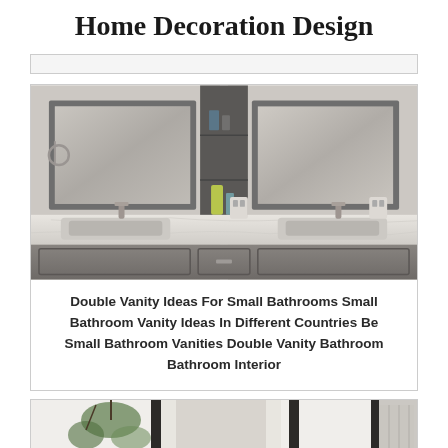Home Decoration Design
[Figure (photo): A horizontal bar/thin card placeholder at top]
[Figure (photo): Double bathroom vanity with two gray-framed mirrors, marble countertop with two undermount sinks, gray cabinets, and a center shelving unit with toiletries]
Double Vanity Ideas For Small Bathrooms Small Bathroom Vanity Ideas In Different Countries Be Small Bathroom Vanities Double Vanity Bathroom Bathroom Interior
[Figure (photo): Partial view of a bathroom with white walls, a window letting in light, hanging plants, and dark framing elements]